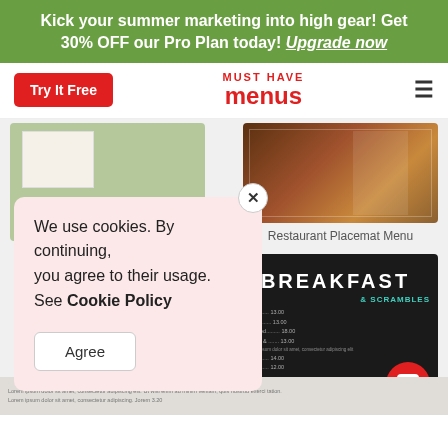Kick your summer marketing into high gear! Get 30% OFF our Pro Plan today! Upgrade now
[Figure (screenshot): Website navigation bar with Try It Free button, Must Have Menus logo, and hamburger menu]
[Figure (screenshot): Restaurant Country Club Menu card thumbnail with PRO badge]
Restaurant Country Club Menu
[Figure (screenshot): Restaurant Placemat Menu card thumbnail]
Restaurant Placemat Menu
[Figure (screenshot): Breakfast menu dark-themed card thumbnail]
We use cookies. By continuing, you agree to their usage. See Cookie Policy
Agree